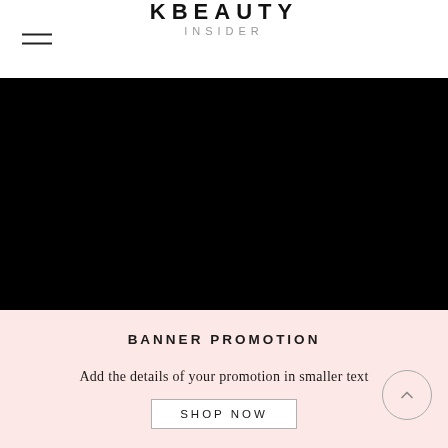KBEAUTY INSIDER
[Figure (photo): Dark/black hero image area]
BANNER PROMOTION
Add the details of your promotion in smaller text
SHOP NOW